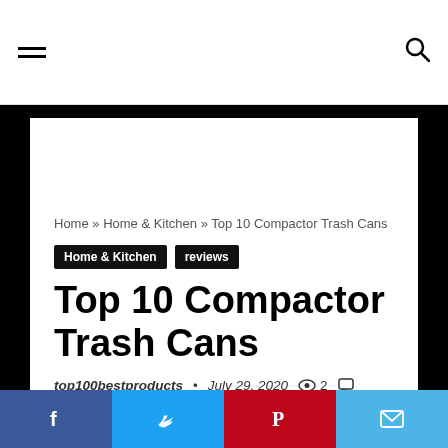☰  🔍
Home » Home & Kitchen » Top 10 Compactor Trash Cans
Home & Kitchen   reviews
Top 10 Compactor Trash Cans
top100bestproducts  •  July 29, 2020  👁 2  💬
0°  −  +  [progress bar]